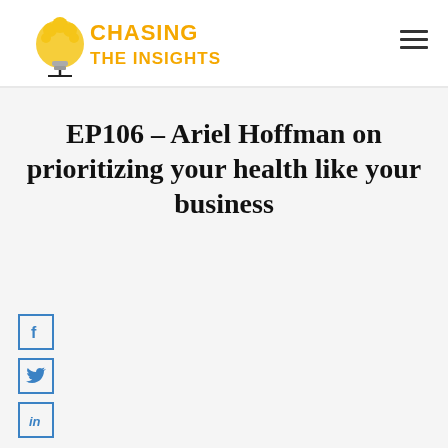[Figure (logo): Chasing the Insights logo with a lightbulb and popcorn, orange text]
EP106 – Ariel Hoffman on prioritizing your health like your business
[Figure (other): Facebook share icon button]
[Figure (other): Twitter share icon button]
[Figure (other): LinkedIn share icon button]